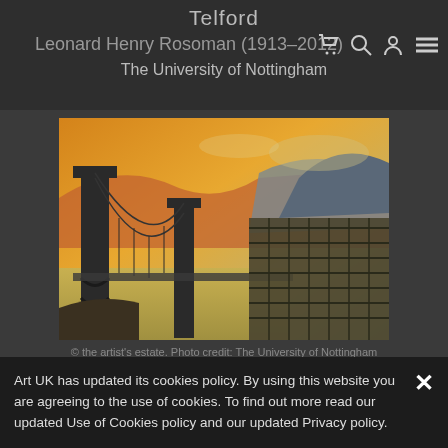Telford
Leonard Henry Rosoman (1913–2012)
The University of Nottingham
[Figure (photo): A painting of an industrial bridge landscape with suspension bridge, warm orange and yellow tones in sky and background, darker tones in foreground structures, appears to be a Telford-era ironbridge or suspension bridge scene]
© the artist's estate. Photo credit: The University of Nottingham
Art UK has updated its cookies policy. By using this website you are agreeing to the use of cookies. To find out more read our updated Use of Cookies policy and our updated Privacy policy.